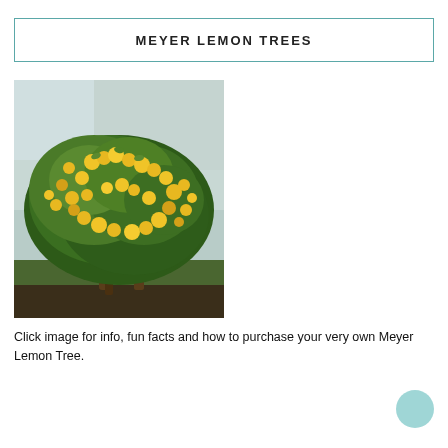MEYER LEMON TREES
[Figure (photo): A Meyer lemon tree heavily laden with bright yellow-orange lemons, with green foliage, set against a light blue building exterior and green ground cover.]
Click image for info, fun facts and how to purchase your very own Meyer Lemon Tree.